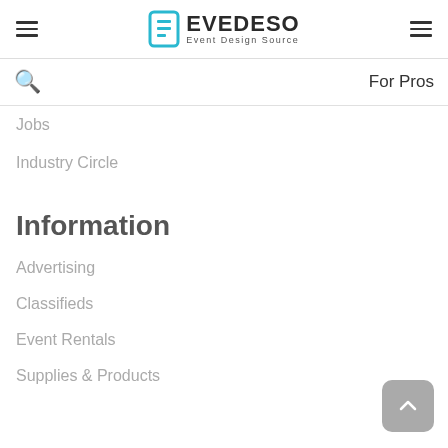EVEDESO Event Design Source
For Pros
Jobs
Industry Circle
Information
Advertising
Classifieds
Event Rentals
Supplies & Products